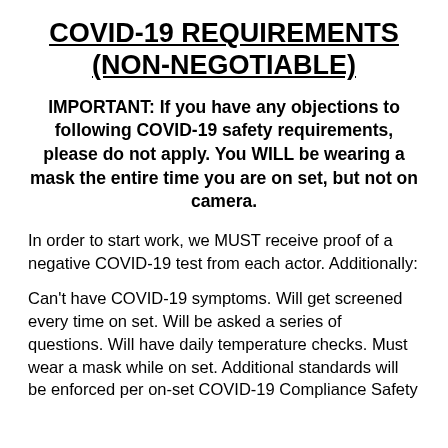COVID-19 REQUIREMENTS (NON-NEGOTIABLE)
IMPORTANT: If you have any objections to following COVID-19 safety requirements, please do not apply. You WILL be wearing a mask the entire time you are on set, but not on camera.
In order to start work, we MUST receive proof of a negative COVID-19 test from each actor. Additionally:
Can't have COVID-19 symptoms. Will get screened every time on set. Will be asked a series of questions. Will have daily temperature checks. Must wear a mask while on set. Additional standards will be enforced per on-set COVID-19 Compliance Safety